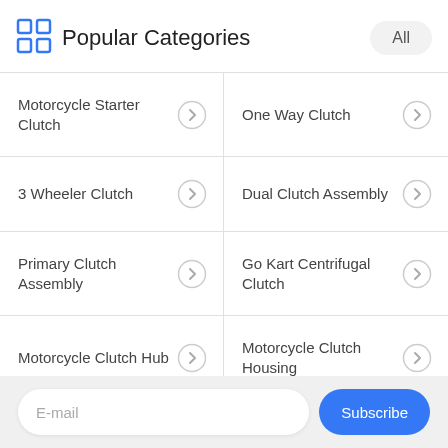Popular Categories
Motorcycle Starter Clutch
One Way Clutch
3 Wheeler Clutch
Dual Clutch Assembly
Primary Clutch Assembly
Go Kart Centrifugal Clutch
Motorcycle Clutch Hub
Motorcycle Clutch Housing
E-mail
Subscribe